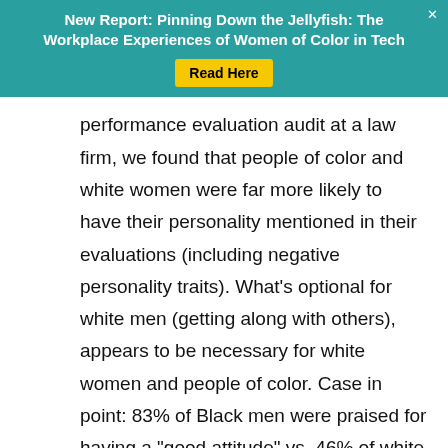New Report: Pinning Down the Jellyfish: The Workplace Experiences of Women of Color in Tech  Read Here
performance evaluation audit at a law firm, we found that people of color and white women were far more likely to have their personality mentioned in their evaluations (including negative personality traits). What's optional for white men (getting along with others), appears to be necessary for white women and people of color. Case in point: 83% of Black men were praised for having a "good attitude" vs. 46% of white men, and 27% of white women were praised for